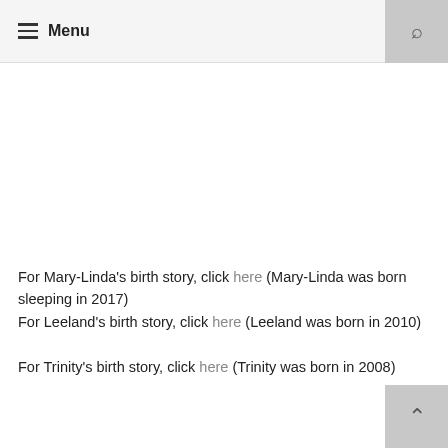≡ Menu
For Mary-Linda's birth story, click here (Mary-Linda was born sleeping in 2017)
For Leeland's birth story, click here (Leeland was born in 2010)
For Trinity's birth story, click here (Trinity was born in 2008)